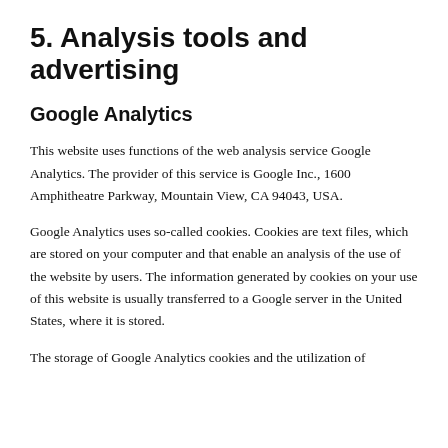5. Analysis tools and advertising
Google Analytics
This website uses functions of the web analysis service Google Analytics. The provider of this service is Google Inc., 1600 Amphitheatre Parkway, Mountain View, CA 94043, USA.
Google Analytics uses so-called cookies. Cookies are text files, which are stored on your computer and that enable an analysis of the use of the website by users. The information generated by cookies on your use of this website is usually transferred to a Google server in the United States, where it is stored.
The storage of Google Analytics cookies and the utilization of